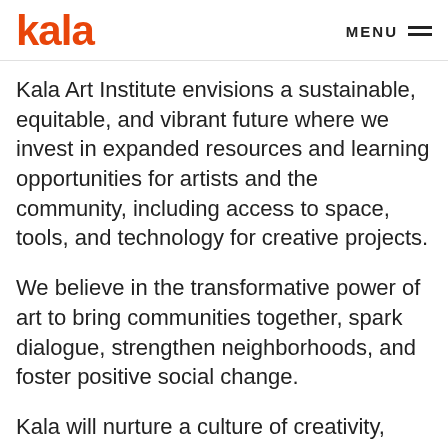kala  MENU
Kala Art Institute envisions a sustainable, equitable, and vibrant future where we invest in expanded resources and learning opportunities for artists and the community, including access to space, tools, and technology for creative projects.
We believe in the transformative power of art to bring communities together, spark dialogue, strengthen neighborhoods, and foster positive social change.
Kala will nurture a culture of creativity, discovery, and mutual respect, connecting artists to community and diverse art practices and